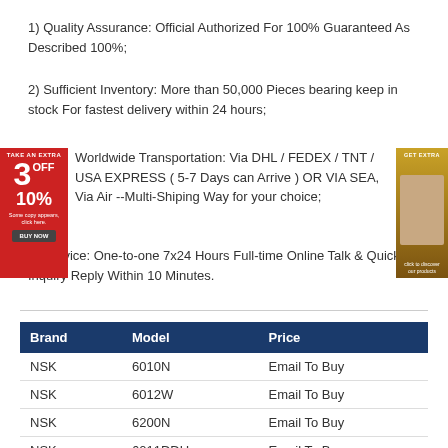1) Quality Assurance: Official Authorized For 100% Guaranteed As Described 100%;
2) Sufficient Inventory: More than 50,000 Pieces bearing keep in stock For fastest delivery within 24 hours;
3) Worldwide Transportation: Via DHL / FEDEX / TNT / USA EXPRESS ( 5-7 Days can Arrive ) OR VIA SEA, Via Air --Multi-Shiping Way for your choice;
4) Service: One-to-one 7x24 Hours Full-time Online Talk & Quick Inquiry Reply Within 10 Minutes.
| Brand | Model | Price |
| --- | --- | --- |
| NSK | 6010N | Email To Buy |
| NSK | 6012W | Email To Buy |
| NSK | 6200N | Email To Buy |
| NSK | 6011DDU | Email To Buy |
| NSK | 6015W | Email To Buy |
| NSK | 6010DDU | Email To Buy |
| NSK | 6020NR | Email To Buy |